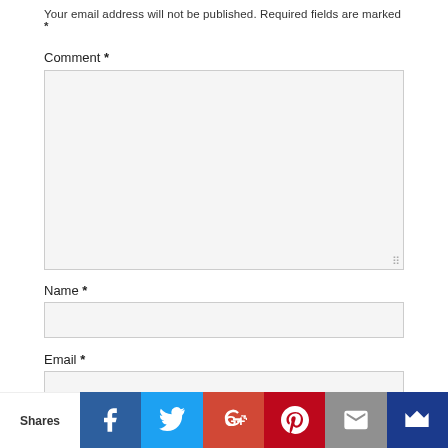Your email address will not be published. Required fields are marked *
Comment *
[Figure (other): Large comment textarea input box with resize handle]
Name *
[Figure (other): Name text input field]
Email *
[Figure (other): Email text input field]
Website
[Figure (other): Social share bar with Shares label, Facebook, Twitter, Google+, Pinterest, Email, and crown icons]